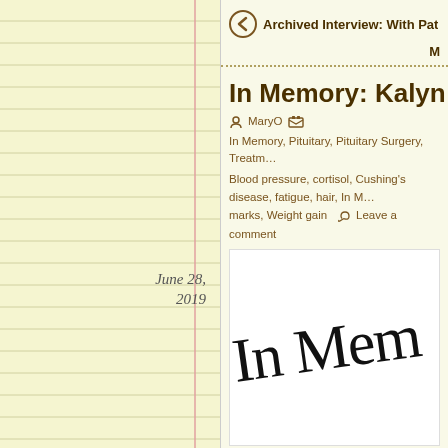Archived Interview: With Pat, Pituitary Patient
In Memory: Kalyn Allen, June 28,
MaryO   In Memory, Pituitary, Pituitary Surgery, Treatment... Blood pressure, cortisol, Cushing's disease, fatigue, hair, In M... marks, Weight gain   Leave a comment
[Figure (illustration): Cursive script text reading 'In Mem' (In Memory) in large black handwriting style on white background]
We lost another Cushie sister today. Kalyn Allen's husband n